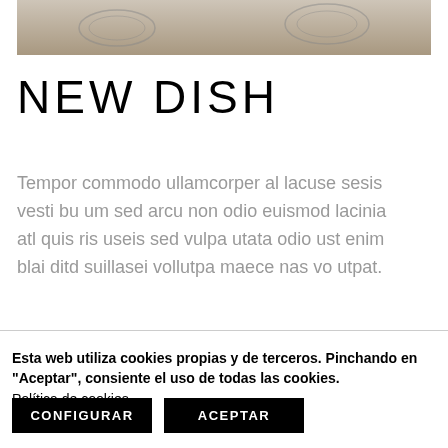[Figure (photo): Partial photo of dishes on a table with a beige/linen background, cropped at top]
NEW DISH
Tempor commodo ullamcorper al lacuse sesis vesti bu um sed arcu non odio euismod lacinia atl quis ris useis sed vulpa utata odio ust enim blai ditd suillasei vollutpa maece nas vo utpat.
Esta web utiliza cookies propias y de terceros. Pinchando en "Aceptar", consiente el uso de todas las cookies. Política de cookies
CONFIGURAR
ACEPTAR